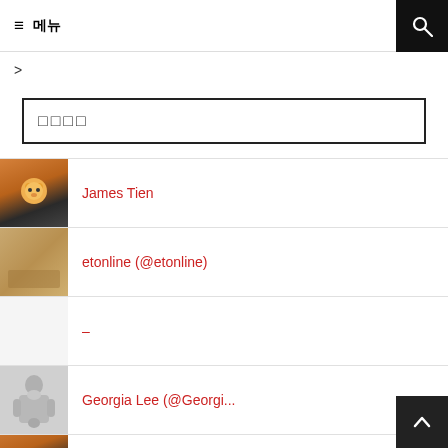≡ 메뉴 🔍
>
□□□□
James Tien
etonline (@etonline)
–
Georgia Lee (@Georgi...